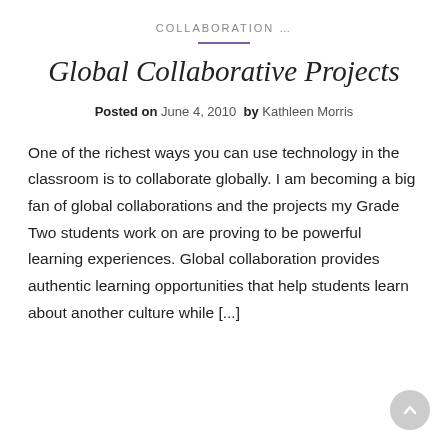COLLABORATION …
Global Collaborative Projects
Posted on June 4, 2010  by  Kathleen Morris
One of the richest ways you can use technology in the classroom is to collaborate globally. I am becoming a big fan of global collaborations and the projects my Grade Two students work on are proving to be powerful learning experiences. Global collaboration provides authentic learning opportunities that help students learn about another culture while [...]